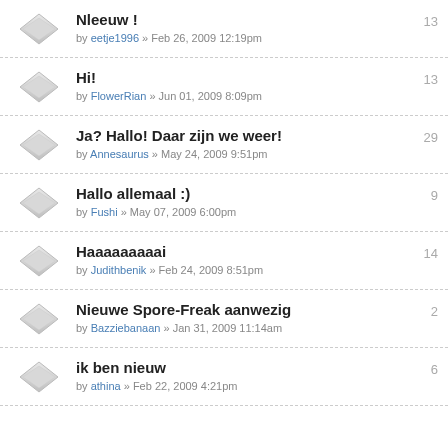Nleeuw ! by eetje1996 » Feb 26, 2009 12:19pm — 13
Hi! by FlowerRian » Jun 01, 2009 8:09pm — 13
Ja? Hallo! Daar zijn we weer! by Annesaurus » May 24, 2009 9:51pm — 29
Hallo allemaal :) by Fushi » May 07, 2009 6:00pm — 9
Haaaaaaaaai by Judithbenik » Feb 24, 2009 8:51pm — 14
Nieuwe Spore-Freak aanwezig by Bazziebanaan » Jan 31, 2009 11:14am — 2
ik ben nieuw by athina » Feb 22, 2009 4:21pm — 6